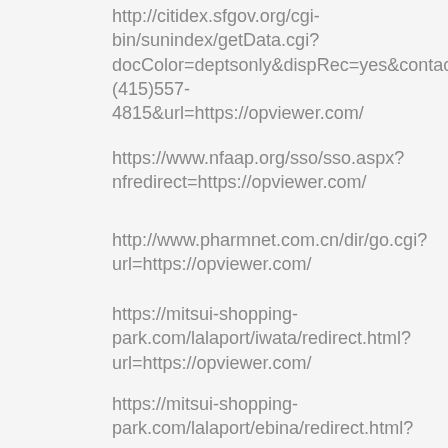http://citidex.sfgov.org/cgi-bin/sunindex/getData.cgi?docColor=deptsonly&dispRec=yes&contact=Te(415)557-4815&url=https://opviewer.com/
https://www.nfaap.org/sso/sso.aspx?nfredirect=https://opviewer.com/
http://www.pharmnet.com.cn/dir/go.cgi?url=https://opviewer.com/
https://mitsui-shopping-park.com/lalaport/iwata/redirect.html?url=https://opviewer.com/
https://mitsui-shopping-park.com/lalaport/ebina/redirect.html?